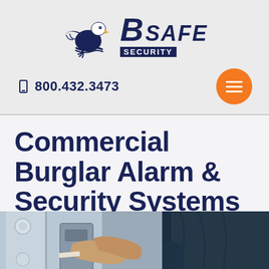[Figure (logo): B Safe Security logo with eagle graphic, bold italic 'B SAFE' text and 'SECURITY' in navy banner]
800.432.3473
Commercial Burglar Alarm & Security Systems
[Figure (photo): Hands installing or adjusting a commercial security alarm panel, person wearing dark jacket]